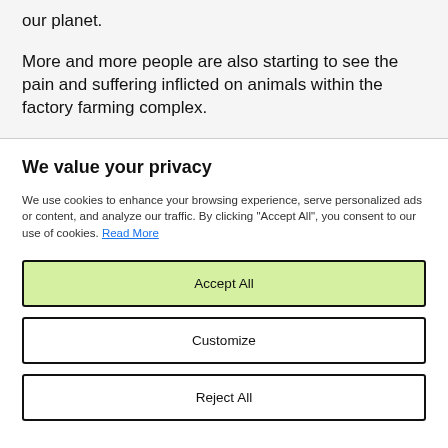our planet.
More and more people are also starting to see the pain and suffering inflicted on animals within the factory farming complex.
We value your privacy
We use cookies to enhance your browsing experience, serve personalized ads or content, and analyze our traffic. By clicking "Accept All", you consent to our use of cookies. Read More
Accept All
Customize
Reject All